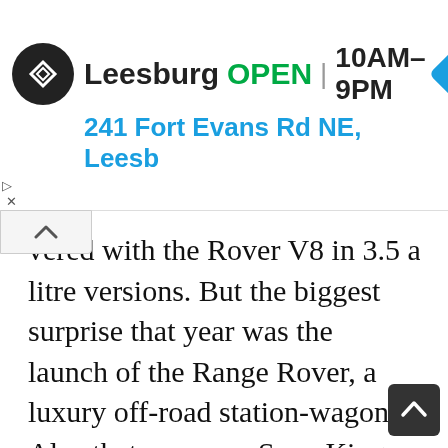[Figure (screenshot): Google Maps advertisement banner showing Leesburg store, OPEN, hours 10AM-9PM, address 241 Fort Evans Rd NE, Leesb]
vered with the Rover V8 in 3.5 and 4.5-litre versions. But the biggest surprise that year was the launch of the Range Rover, a luxury off-road station-wagon. Also that year saw Spen King replacing Harry Webster as Technical Director. Though the V8-powered P5B was launched immediately after the takeover, it was destined to have a very short life, axed at the arrival of the P8. In that short time it became an instant classic. The aged Alvis TE 21 was discontinued at the launch of